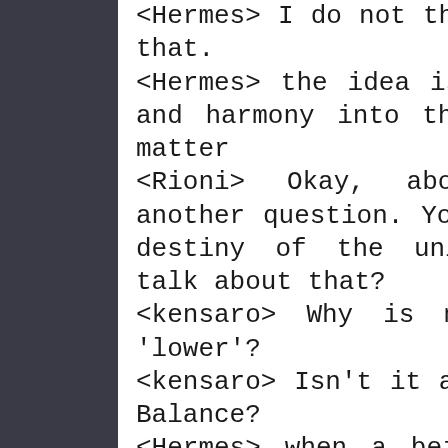<Hermes> I do not think it works like that.
<Hermes> the idea is to bring spirit and harmony into the lower plane of matter
<Rioni> Okay, above you spurred another question. You said 'long term destiny of the universe'. Can you talk about that?
<kensaro> Why is matter considered 'lower'?
<kensaro> Isn't it all about harmony? Balance?
<Hermes> when a being incarnates in matter they are blinded by the glamour of it
<Hermes> it disconnects them from the spiritual energies
<Hermes> and they have to